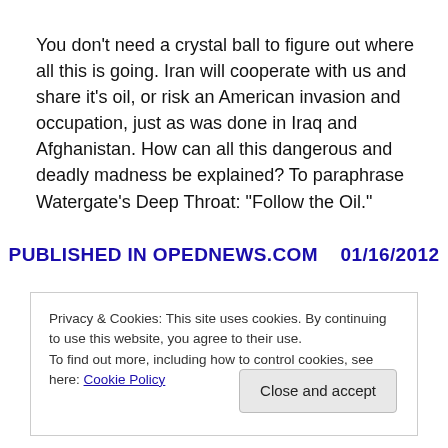You don’t need a crystal ball to figure out where all this is going. Iran will cooperate with us and share it’s oil, or risk an American invasion and occupation, just as was done in Iraq and Afghanistan. How can all this dangerous and deadly madness be explained? To paraphrase Watergate’s Deep Throat: “Follow the Oil.”
PUBLISHED IN OPEDNEWS.COM   01/16/2012
Privacy & Cookies: This site uses cookies. By continuing to use this website, you agree to their use.
To find out more, including how to control cookies, see here: Cookie Policy
Close and accept